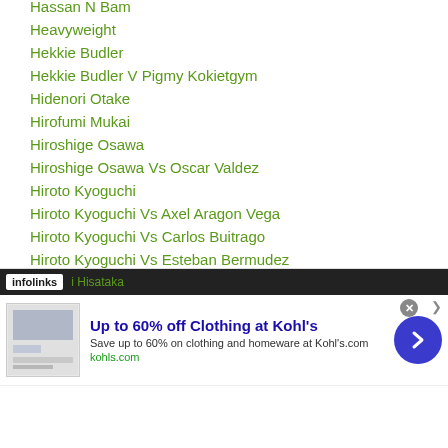Hassan N Bam
Heavyweight
Hekkie Budler
Hekkie Budler V Pigmy Kokietgym
Hidenori Otake
Hirofumi Mukai
Hiroshige Osawa
Hiroshige Osawa Vs Oscar Valdez
Hiroto Kyoguchi
Hiroto Kyoguchi Vs Axel Aragon Vega
Hiroto Kyoguchi Vs Carlos Buitrago
Hiroto Kyoguchi Vs Esteban Bermudez
Hiroto Kyoguchi Vs Hekkie Budler
Hiroto Kyoguchi Vs Satanmuanglek CP Freshmart
Hiroto Kyoguchi Vs Tetsuya Hisada
Hiroto Kyoguchi Vs Vince Paras
i Hisataka
[Figure (screenshot): Advertisement banner: 'Up to 60% off Clothing at Kohl's' with infolinks bar, close button, and arrow button]